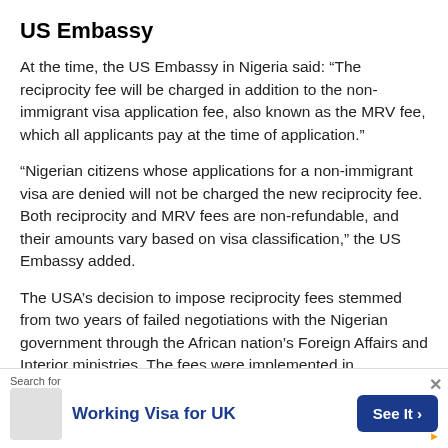US Embassy
At the time, the US Embassy in Nigeria said: “The reciprocity fee will be charged in addition to the non-immigrant visa application fee, also known as the MRV fee, which all applicants pay at the time of application.”
“Nigerian citizens whose applications for a non-immigrant visa are denied will not be charged the new reciprocity fee. Both reciprocity and MRV fees are non-refundable, and their amounts vary based on visa classification,” the US Embassy added.
The USA’s decision to impose reciprocity fees stemmed from two years of failed negotiations with the Nigerian government through the African nation’s Foreign Affairs and Interior ministries. The fees were implemented in
Search for
Working Visa for UK
See It ›